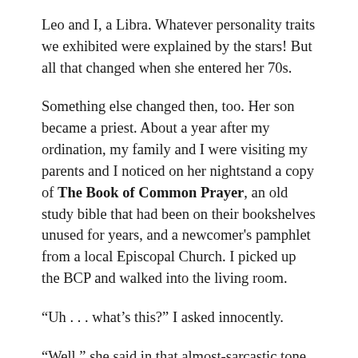Leo and I, a Libra. Whatever personality traits we exhibited were explained by the stars! But all that changed when she entered her 70s.
Something else changed then, too. Her son became a priest. About a year after my ordination, my family and I were visiting my parents and I noticed on her nightstand a copy of The Book of Common Prayer, an old study bible that had been on their bookshelves unused for years, and a newcomer's pamphlet from a local Episcopal Church. I picked up the BCP and walked into the living room.
“Uh . . . what’s this?” I asked innocently.
“Well,” she said in that almost-sarcastic tone of voice on which I think she had a trademark, “I guess you’re serious about this, so I thought I’d better check it out.”
And she did check it out. But the deeper chapter of the...